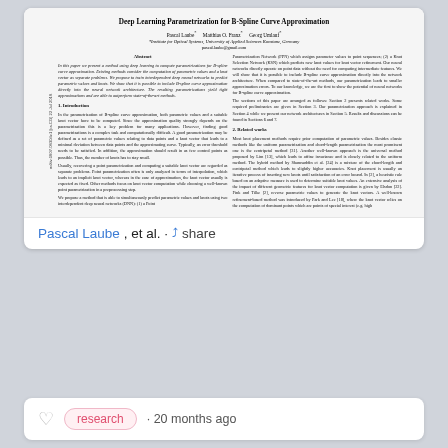Deep Learning Parametrization for B-Spline Curve Approximation
Pascal Laube*, Matthias O. Franz*, Georg Umlauf*
*Institute for Optical Systems, University of Applied Sciences Konstanz, Germany
pascal.laube@gmail.com
Abstract
In this paper we present a method using deep learning to compute parametrizations for B-spline curve approximation. Existing methods consider the computation of parametric values and a knot vector as separate problems. We propose to train interdependent deep neural networks to predict parametric values and knots. We show that it is possible to include B-spline curve approximation directly into the neural network architecture. The resulting parametrization yield tight approximations and are able to outperform state-of-the-art methods.
1. Introduction
In the parametrization of B-spline curve approximation, both parametric values and a suitable knot vector have to be computed. Since the approximation quality strongly depends on the parametrization this is a key problem for many applications. However, finding good parametrizations is a complex task and computationally difficult. A good parametrization may be defined as a set of parametric values relating to data points and a knot vector that leads to a minimal deviation between data points and the approximating curve.
2. Related works
Most knot placement methods require prior computation of parametric values. Besides classic methods like the uniform parametrization and chord-length parametrization the most prominent one is the centripetal method [31]. Another well-known approach is the universal method proposed by Lim [13], which leads to affine invariance and is closely related to the uniform method.
Pascal Laube, et al. · share
research · 20 months ago